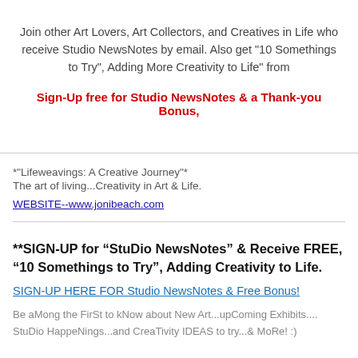Join other Art Lovers, Art Collectors, and Creatives in Life who receive Studio NewsNotes by email. Also get "10 Somethings to Try", Adding More Creativity to Life" from
Sign-Up free for Studio NewsNotes & a Thank-you Bonus,
*"Lifeweavings: A Creative Journey"*
The art of living...Creativity in Art & Life.
WEBSITE--www.jonibeach.com
**SIGN-UP for “StuDio NewsNotes” & Receive FREE, “10 Somethings to Try”, Adding Creativity to Life.
SIGN-UP HERE FOR Studio NewsNotes & Free Bonus!
Be aMong the FirSt to kNow about New Art...upComing Exhibits.... StuDio HappeNings...and CreaTivity IDEAS to try...& MoRe! :)